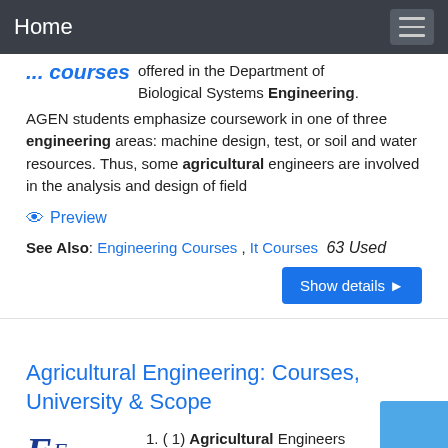Home
offered in the Department of Biological Systems Engineering. AGEN students emphasize coursework in one of three engineering areas: machine design, test, or soil and water resources. Thus, some agricultural engineers are involved in the analysis and design of field
Preview
See Also: Engineering Courses , It Courses  63 Used
Show details
Agricultural Engineering: Courses, University & Scope
1. ( 1) Agricultural Engineers work on the application of